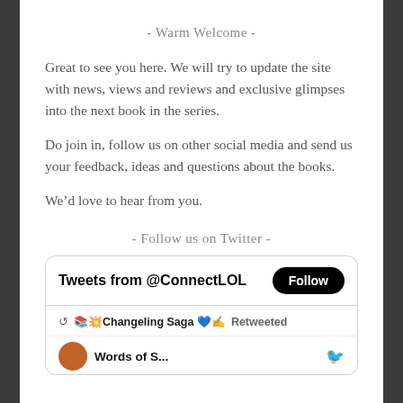- Warm Welcome -
Great to see you here. We will try to update the site with news, views and reviews and exclusive glimpses into the next book in the series.
Do join in, follow us on other social media and send us your feedback, ideas and questions about the books.
We’d love to hear from you.
- Follow us on Twitter -
[Figure (screenshot): Twitter widget showing 'Tweets from @ConnectLOL' with a Follow button, and a retweeted post from Changeling Saga below.]